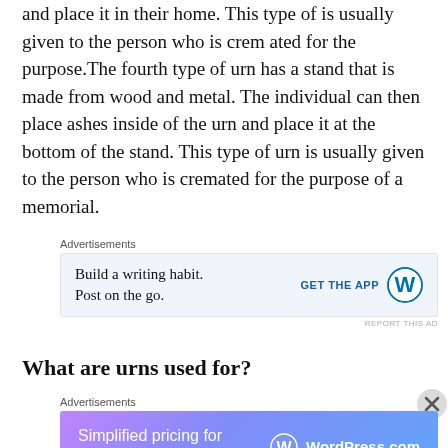and place it in their home. This type of is usually given to the person who is crem ated for the purpose.The fourth type of urn has a stand that is made from wood and metal. The individual can then place ashes inside of the urn and place it at the bottom of the stand. This type of urn is usually given to the person who is cremated for the purpose of a memorial.
[Figure (other): Advertisement banner: Build a writing habit. Post on the go. GET THE APP with WordPress logo]
What are urns used for?
[Figure (other): Advertisement banner: Simplified pricing for everything you need. WordPress.com logo on gradient purple-blue background]